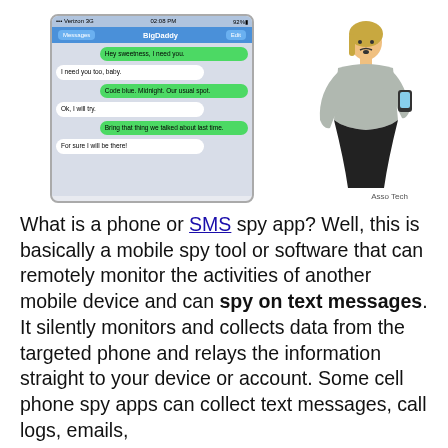[Figure (illustration): Screenshot of an iPhone text message conversation labeled 'BigDaddy' showing messages: 'Hey sweetness, I need you.', 'I need you too, baby.', 'Code blue. Midnight. Our usual spot.', 'Ok, I will try.', 'Bring that thing we talked about last time.', 'For sure I will be there!'. Beside the phone screenshot is a woman looking shocked at her phone. Credit: Asso Tech.]
What is a phone or SMS spy app? Well, this is basically a mobile spy tool or software that can remotely monitor the activities of another mobile device and can spy on text messages. It silently monitors and collects data from the targeted phone and relays the information straight to your device or account. Some cell phone spy apps can collect text messages, call logs, emails,